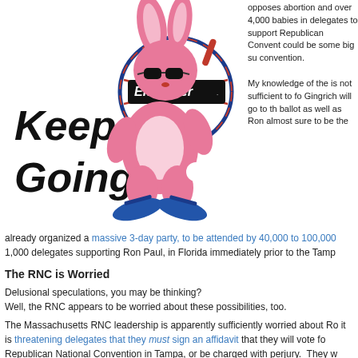[Figure (illustration): Energizer Bunny mascot with sunglasses, pink fur, drum, and blue sandals with 'Keep Going' text and Energizer logo]
opposes abortion and over 4,000 babies in delegates to support Republican Convent could be some big su convention.
My knowledge of the is not sufficient to fo Gingrich will go to th ballot as well as Ron almost sure to be the
already organized a massive 3-day party, to be attended by 40,000 to 100,000 1,000 delegates supporting Ron Paul, in Florida immediately prior to the Tamp
The RNC is Worried
Delusional speculations, you may be thinking?
Well, the RNC appears to be worried about these possibilities, too.
The Massachusetts RNC leadership is apparently sufficiently worried about Ro it is threatening delegates that they must sign an affidavit that they will vote fo Republican National Convention in Tampa, or be charged with perjury.  They w